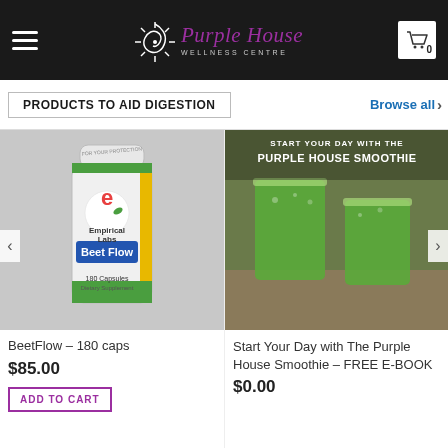Purple House Wellness Centre
PRODUCTS TO AID DIGESTION
Browse all
[Figure (photo): Bottle of Empirical Labs Beet Flow dietary supplement, 180 capsules]
BeetFlow – 180 caps
$85.00
ADD TO CART
[Figure (photo): Two tall glasses filled with green smoothie on a counter, with text overlay 'START YOUR DAY WITH THE PURPLE HOUSE SMOOTHIE']
Start Your Day with The Purple House Smoothie – FREE E-BOOK
$0.00